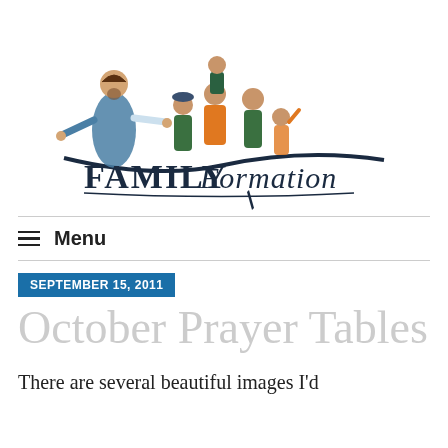[Figure (logo): Family Formation logo: illustration of Jesus with arms outstretched alongside a family group (adults and children), with 'FAMILY Formation' text below in dark navy serif/script lettering]
≡  Menu
SEPTEMBER 15, 2011
October Prayer Tables
There are several beautiful images I'd